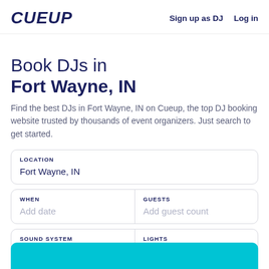CUEUP   Sign up as DJ   Log in
Book DJs in Fort Wayne, IN
Find the best DJs in Fort Wayne, IN on Cueup, the top DJ booking website trusted by thousands of event organizers. Just search to get started.
LOCATION
Fort Wayne, IN
WHEN
Add date
GUESTS
Add guest count
SOUND SYSTEM
Add sound system
LIGHTS
Add lights